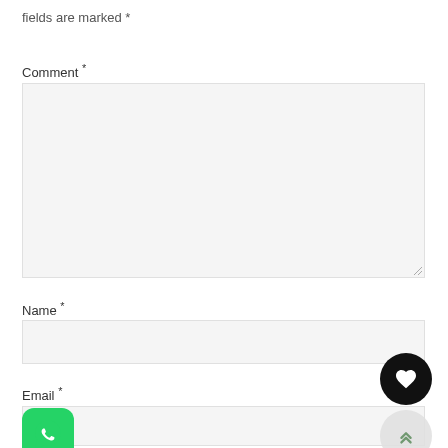fields are marked *
Comment *
Name *
Email *